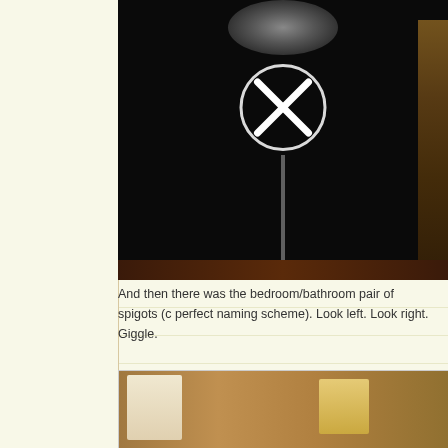[Figure (photo): Dark photograph showing what appears to be a microphone stand or music stand with a cymbal at top and a circular X symbol (close/delete button) overlaid in the center, taken in a dimly lit room]
And then there was the bedroom/bathroom pair of spigots (c perfect naming scheme). Look left. Look right. Giggle.
[Figure (photo): Photograph of a bedroom or hotel room showing lamps on what appears to be a wooden surface or headboard]